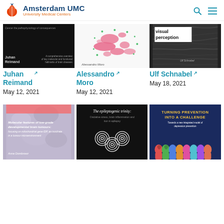Amsterdam UMC University Medical Centers
[Figure (photo): Book cover - dark/black, Juhan Reimand]
[Figure (photo): Book cover - white background with pink scatter pattern, Alessandro Moro]
[Figure (photo): Book cover - dark texture with 'visual perception' text, Ulf Schnabel]
Juhan Reimand
May 12, 2021
Alessandro Moro
May 12, 2021
Ulf Schnabel
May 18, 2021
[Figure (photo): Book cover - Molecular features of low-grade developmental brain tumours]
[Figure (photo): Book cover - The epileptogenic trinity: Oxidative stress, brain inflammation and iron in epilepsy]
[Figure (photo): Book cover - Turning Prevention Into a Challenge: Towards a new integrated model of depression prevention]